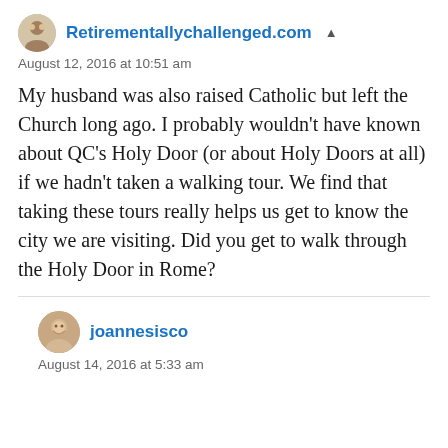Retirementallychallenged.com
August 12, 2016 at 10:51 am
My husband was also raised Catholic but left the Church long ago. I probably wouldn't have known about QC's Holy Door (or about Holy Doors at all) if we hadn't taken a walking tour. We find that taking these tours really helps us get to know the city we are visiting. Did you get to walk through the Holy Door in Rome?
joannesisco
August 14, 2016 at 5:33 am